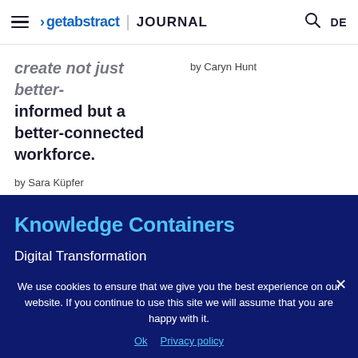getabstract | JOURNAL
...create not just better-informed but a better-connected workforce.
by Sara Küpfer
by Caryn Hunt
Knowledge Containers
Digital Transformation
Leadership
New Work
We use cookies to ensure that we give you the best experience on our website. If you continue to use this site we will assume that you are happy with it.
Ok   Privacy policy